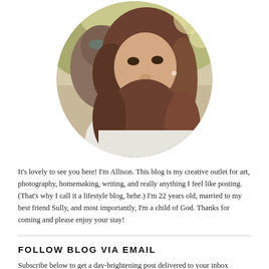[Figure (photo): Circular cropped photo of a smiling woman with long brown hair, a man visible behind her kissing her cheek, both wearing white, outdoors with blurred green background.]
It's lovely to see you here! I'm Allison. This blog is my creative outlet for art, photography, homemaking, writing, and really anything I feel like posting. (That's why I call it a lifestyle blog, hehe.) I'm 22 years old, married to my best friend Sully, and most importantly, I'm a child of God. Thanks for coming and please enjoy your stay!
FOLLOW BLOG VIA EMAIL
Subscribe below to get a day-brightening post delivered to your inbox